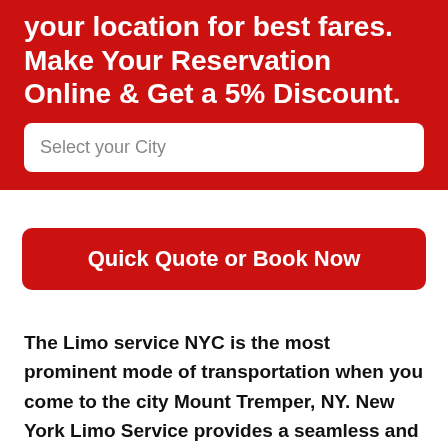your location for best fares. Make Your Reservation Online & Get a 5% Discount.
Select your City
Quick Quote or Book Now
The Limo service NYC is the most prominent mode of transportation when you come to the city Mount Tremper, NY. New York Limo Service provides a seamless and smooth car transfer service with our extensive and elegant range of high-end luxury fleet of limousines. With Limo service New York at your service, we assure you to get you the most extraordinary, sophisticated, and enticing lifetime